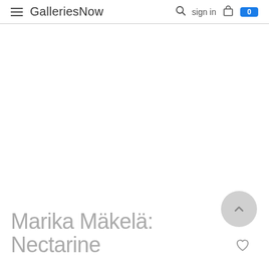GalleriesNow  sign in  0
Marika Mäkelä: Nectarine